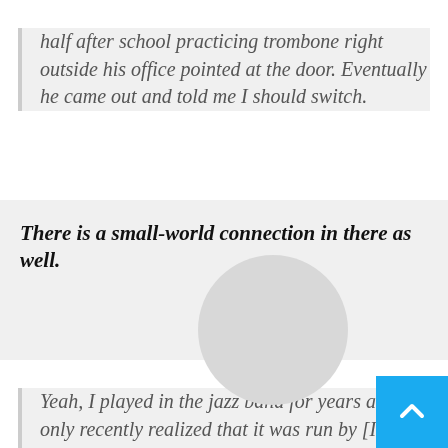half after school practicing trombone right outside his office pointed at the door. Eventually he came out and told me I should switch.
There is a small-world connection in there as well.
Yeah, I played in the jazz band for years and only recently realized that it was run by [ISO flutist] Rebecca Price Arrensen's brother!